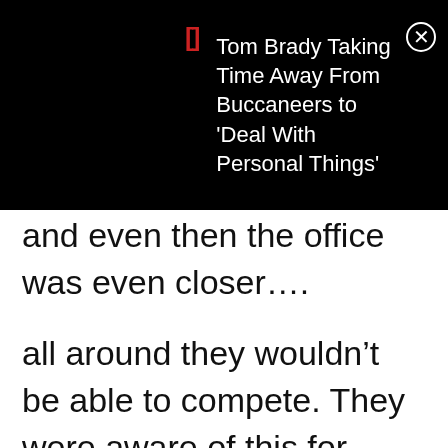[Figure (screenshot): Mobile notification overlay on black background showing article title 'Tom Brady Taking Time Away From Buccaneers to Deal With Personal Things' with a red bracket icon on the left and a close (X) button on the right.]
and even then the office was even closer….
all around they wouldn't be able to compete. They were aware of this for about 2 months as they almost sank it by dragging their heels on some verifications like employment verification. I even flat out told my